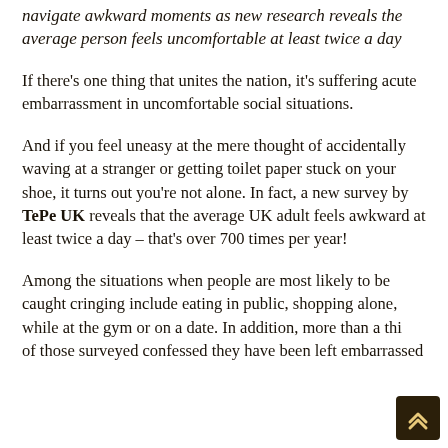navigate awkward moments as new research reveals the average person feels uncomfortable at least twice a day
If there's one thing that unites the nation, it's suffering acute embarrassment in uncomfortable social situations.
And if you feel uneasy at the mere thought of accidentally waving at a stranger or getting toilet paper stuck on your shoe, it turns out you're not alone. In fact, a new survey by TePe UK reveals that the average UK adult feels awkward at least twice a day – that's over 700 times per year!
Among the situations when people are most likely to be caught cringing include eating in public, shopping alone, while at the gym or on a date. In addition, more than a third of those surveyed confessed they have been left embarrassed